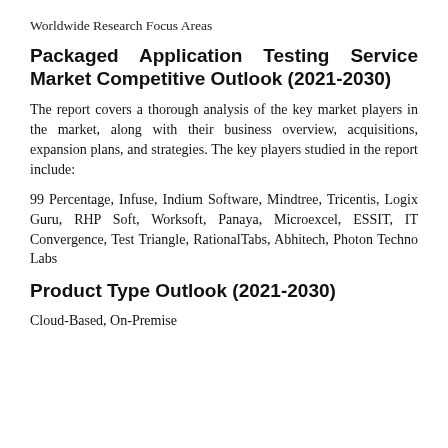Worldwide Research Focus Areas
Packaged Application Testing Service Market Competitive Outlook (2021-2030)
The report covers a thorough analysis of the key market players in the market, along with their business overview, acquisitions, expansion plans, and strategies. The key players studied in the report include:
99 Percentage, Infuse, Indium Software, Mindtree, Tricentis, Logix Guru, RHP Soft, Worksoft, Panaya, Microexcel, ESSIT, IT Convergence, Test Triangle, RationalTabs, Abhitech, Photon Techno Labs
Product Type Outlook (2021-2030)
Cloud-Based, On-Premise